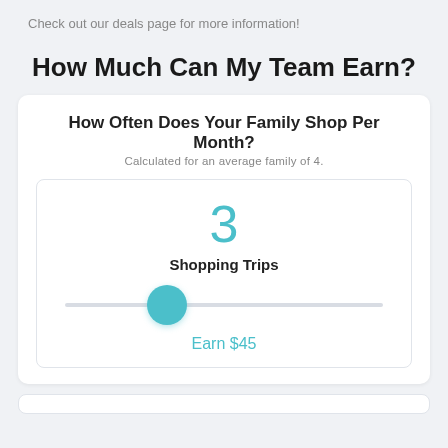Check out our deals page for more information!
How Much Can My Team Earn?
How Often Does Your Family Shop Per Month?
Calculated for an average family of 4.
3
Shopping Trips
Earn $45